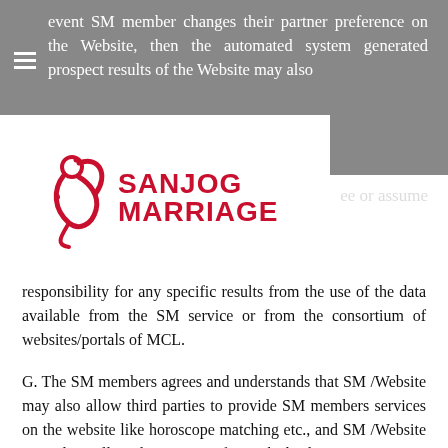event SM member changes their partner preference on the Website, then the automated system generated prospect results of the Website may also
[Figure (logo): Sanjog Marriage logo with a stylized peacock/couple icon in red and the text SANJOG MARRIAGE in bold red letters]
ee or assume responsibility for any specific results from the use of the data available from the SM service or from the consortium of websites/portals of MCL.
G. The SM members agrees and understands that SM /Website may also allow third parties to provide SM members services on the website like horoscope matching etc., and SM /Website may also collect the payment for such third party services to you.